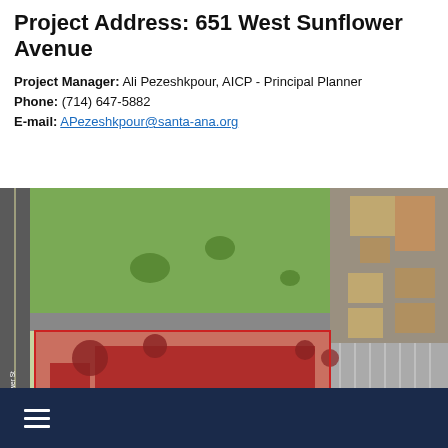Project Address: 651 West Sunflower Avenue
Project Manager: Ali Pezeshkpour, AICP - Principal Planner
Phone: (714) 647-5882
E-mail: APezeshkpour@santa-ana.org
[Figure (map): Aerial map showing project site at 651 West Sunflower Avenue, Santa Ana. The subject site is highlighted in red/pink overlay. Streets labeled include S Flower St (vertical, left side), Sunflower Ave (horizontal, bottom). The site appears to be a large commercial/institutional parcel with buildings visible. Adjacent parcels and parking lots visible. Label 'Subject Site' shown in yellow text on the red overlay.]
Navigation menu icon (hamburger)